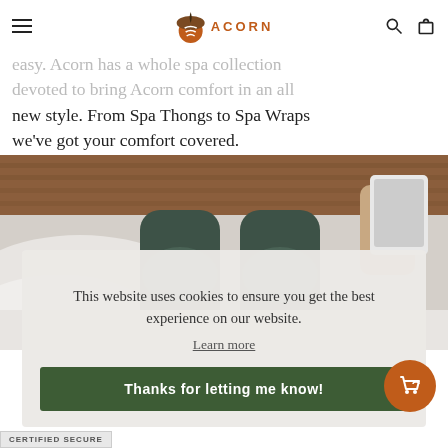Acorn — navigation bar with hamburger menu, Acorn logo, search and bag icons
easy. Acorn has a whole spa collection devoted to bring Acorn comfort in an all new style. From Spa Thongs to Spa Wraps we've got your comfort covered.
[Figure (photo): Person lying on a bed, legs in dark pants, holding a tablet, with a wooden headboard visible in the background.]
This website uses cookies to ensure you get the best experience on our website.
Learn more
Thanks for letting me know!
CERTIFIED SECURE